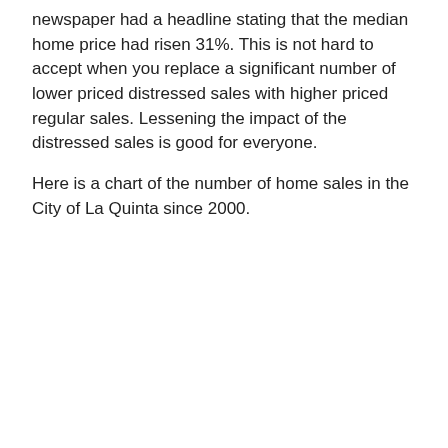newspaper had a headline stating that the median home price had risen 31%. This is not hard to accept when you replace a significant number of lower priced distressed sales with higher priced regular sales. Lessening the impact of the distressed sales is good for everyone.
Here is a chart of the number of home sales in the City of La Quinta since 2000.